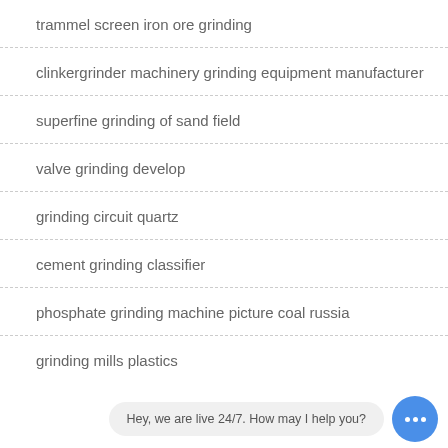trammel screen iron ore grinding
clinkergrinder machinery grinding equipment manufacturer
superfine grinding of sand field
valve grinding develop
grinding circuit quartz
cement grinding classifier
phosphate grinding machine picture coal russia
grinding mills plastics